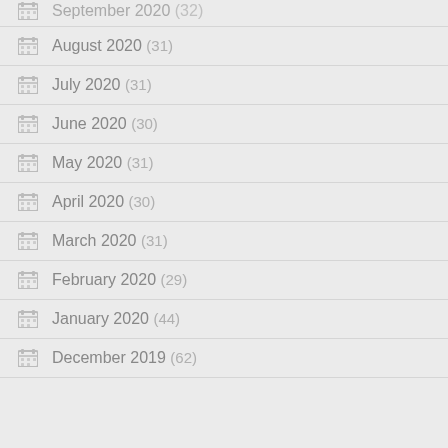September 2020 (32)
August 2020 (31)
July 2020 (31)
June 2020 (30)
May 2020 (31)
April 2020 (30)
March 2020 (31)
February 2020 (29)
January 2020 (44)
December 2019 (62)